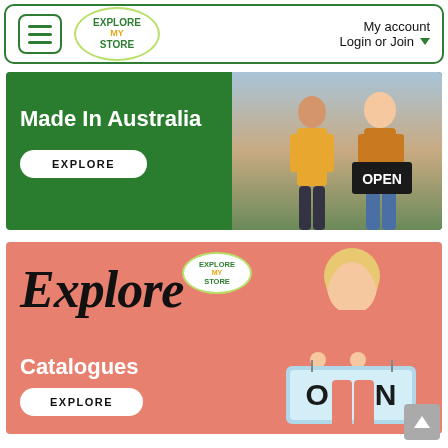Explore My Store — My account Login or Join
[Figure (screenshot): Green promotional banner reading 'Made In Australia' with an EXPLORE button and two people in aprons holding an OPEN sign on the right side]
[Figure (screenshot): Salmon/coral promotional banner with 'Explore Catalogues' in script and sans text, EXPLORE button, and a woman holding an OPEN sign on the right side]